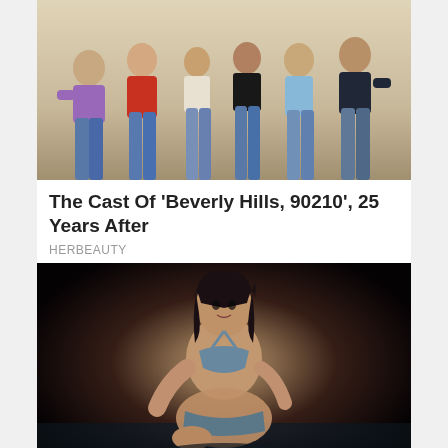[Figure (photo): Group photo of the cast of Beverly Hills 90210, young adults in jeans and casual tops posing together]
The Cast Of 'Beverly Hills, 90210', 25 Years After
HERBEAUTY
[Figure (photo): Woman in a teal/grey bikini posing on a beach at night]
These Are Kim's Hottest Swimsuits